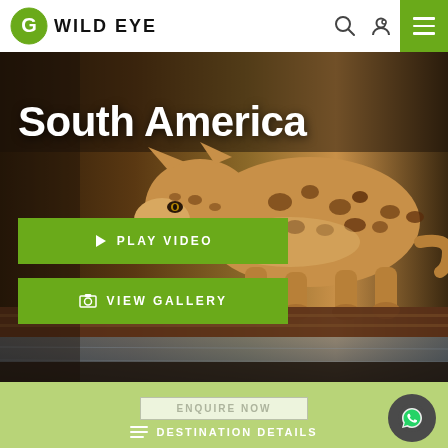WILD EYE
[Figure (photo): Jaguar walking on a wooden dock/boardwalk near water, photographed from behind, with spotted coat visible. Dark moody background with brown/amber tones.]
South America
PLAY VIDEO
VIEW GALLERY
ENQUIRE NOW
DESTINATION DETAILS